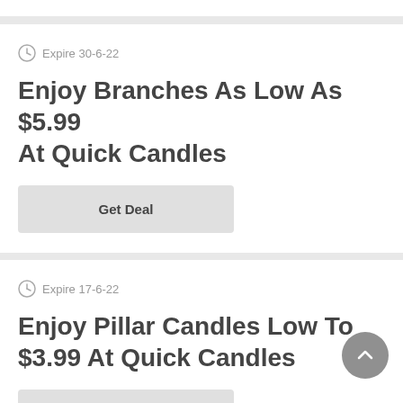Expire 30-6-22
Enjoy Branches As Low As $5.99 At Quick Candles
Get Deal
Expire 17-6-22
Enjoy Pillar Candles Low To $3.99 At Quick Candles
Get Deal